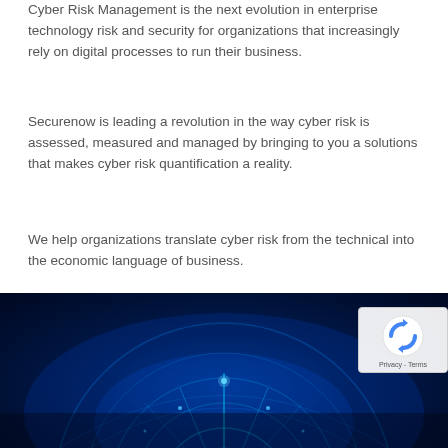Cyber Risk Management is the next evolution in enterprise technology risk and security for organizations that increasingly rely on digital processes to run their business.
Securenow is leading a revolution in the way cyber risk is assessed, measured and managed by bringing to you a solutions that makes cyber risk quantification a reality.
We help organizations translate cyber risk from the technical into the economic language of business.
[Figure (photo): Dark blue glowing digital/cyber technology background image with circular arc patterns and light beams, partially visible at the bottom of the page. A reCAPTCHA widget overlay appears in the bottom right corner with 'Privacy - Terms' text.]